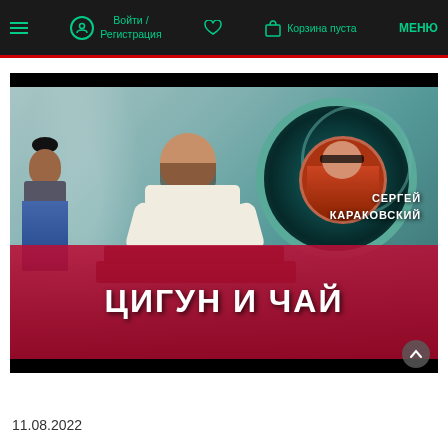Войти / Регистрация  Корзина пуста  МЕНЮ
[Figure (photo): Promotional thumbnail for 'Цигун и Чай' by Сергей Караковский. Shows a DJ/tea ceremony scene with a man in white shirt working at a table, a woman on the left, and a person in sunglasses in an inset circle on the right against a teal background with a gong. Large bold white Cyrillic text 'ЦИГУН И ЧАЙ' over a crimson gradient banner at the bottom.]
11.08.2022